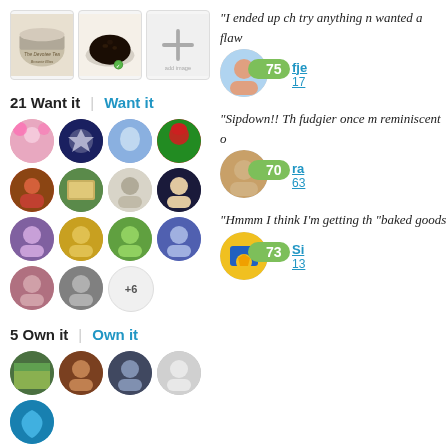[Figure (photo): Three product images: a tin of The Devotee tea, loose leaf dark tea, and an add image plus button]
21 Want it | Want it
[Figure (photo): Grid of user avatar circles for Want it - 14 avatars plus +6 more]
5 Own it | Own it
[Figure (photo): Row of 5 user avatar circles for Own it]
“I ended up ch try anything n wanted a flaw
[Figure (photo): Reviewer avatar with score badge 75 and name fje, 17 ratings]
“Sipdown!! Th fudgier once m reminiscent o
[Figure (photo): Reviewer avatar with score badge 70 and name ra, 63 ratings]
“Hmmm I think I’m getting th “baked goods
[Figure (photo): Reviewer avatar with score badge 73 and name Si, 13 ratings]